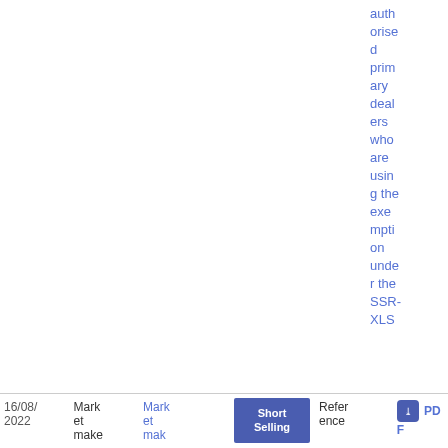authorised primary dealers who are using the exemption under the SSR-XLS
| Date | Type | Title | Category | Reference | Downloads |
| --- | --- | --- | --- | --- | --- |
| 16/08/2022 | Market make | Market mak | Short Selling | Reference | PDF |